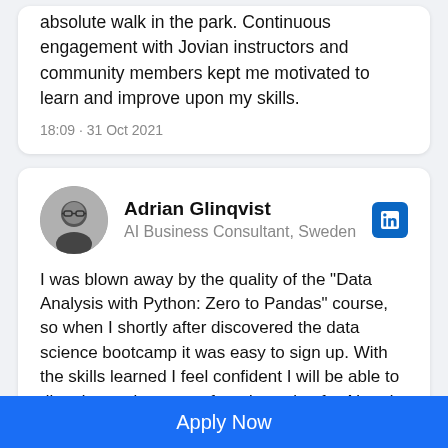absolute walk in the park. Continuous engagement with Jovian instructors and community members kept me motivated to learn and improve upon my skills.
18:09 · 31 Oct 2021
Adrian Glinqvist
AI Business Consultant, Sweden
I was blown away by the quality of the "Data Analysis with Python: Zero to Pandas" course, so when I shortly after discovered the data science bootcamp it was easy to sign up. With the skills learned I feel confident I will be able to dive deeper in my newfound passion for AI and ML field and find a new career in the domain. Thank you Aakash and the Jovian team for the support and for providing a forum for a great group of diverse people to learn and grow together on the Jovian platform
21:03 · 29 Nov 2021
Apply Now